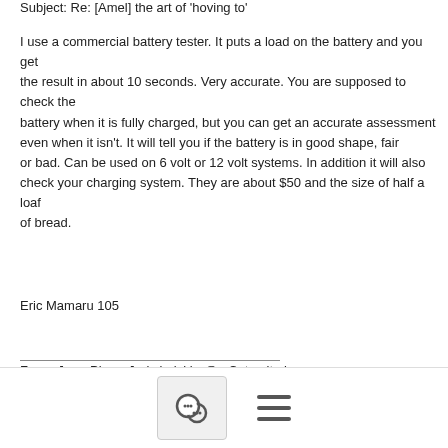Subject: Re: [Amel] the art of  'hoving to'
I use a commercial battery tester. It puts a load on the battery and you get
the result in about 10 seconds. Very accurate. You are supposed to check the
battery when it is fully charged, but you can get an accurate assessment
even when it isn't. It will tell you if the battery is in good shape, fair
or bad. Can be used on 6 volt or 12 volt systems. In addition it will also
check your charging system. They are about $50 and the size of half a loaf
of bread.
Eric Mamaru 105
______________________________
From: Jean-Pierre Joris jorisj.be@...Catamite in...